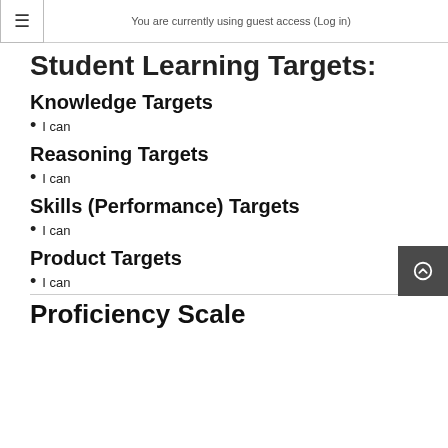You are currently using guest access (Log in)
Student Learning Targets:
Knowledge Targets
I can
Reasoning Targets
I can
Skills (Performance) Targets
I can
Product Targets
I can
Proficiency Scale